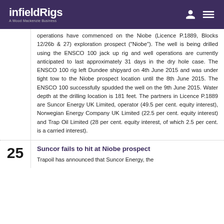infieldRigs — A Wood Mackenzie Business
operations have commenced on the Niobe (Licence P.1889, Blocks 12/26b & 27) exploration prospect ("Niobe"). The well is being drilled using the ENSCO 100 jack up rig and well operations are currently anticipated to last approximately 31 days in the dry hole case. The ENSCO 100 rig left Dundee shipyard on 4th June 2015 and was under tight tow to the Niobe prospect location until the 8th June 2015. The ENSCO 100 successfully spudded the well on the 9th June 2015. Water depth at the drilling location is 181 feet. The partners in Licence P.1889 are Suncor Energy UK Limited, operator (49.5 per cent. equity interest), Norwegian Energy Company UK Limited (22.5 per cent. equity interest) and Trap Oil Limited (28 per cent. equity interest, of which 2.5 per cent. is a carried interest).
Suncor fails to hit at Niobe prospect
Trapoil has announced that Suncor Energy, the